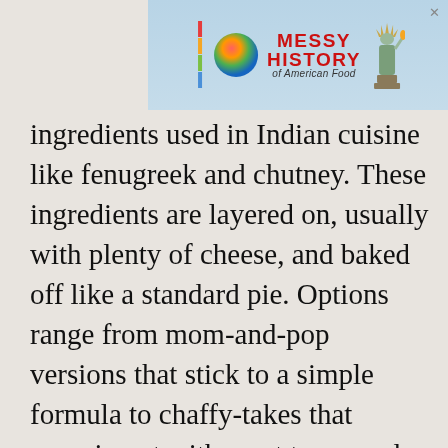[Figure (screenshot): Advertisement banner for 'Messy History of American Food' with colorful logo, Statue of Liberty, and close button X]
ingredients used in Indian cuisine like fenugreek and chutney. These ingredients are layered on, usually with plenty of cheese, and baked off like a standard pie. Options range from mom-and-pop versions that stick to a simple formula to chaffy-takes that experiment with crust types and topping combinations.
ADVERTISEMENT